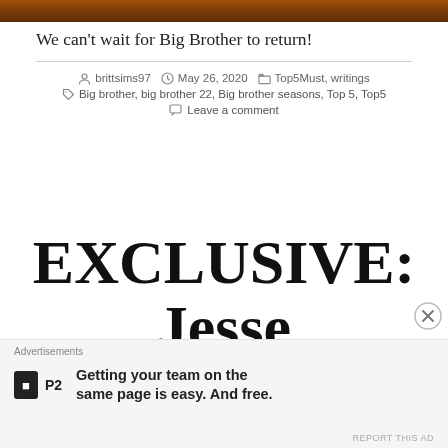[Figure (photo): Dark brownish-orange photo strip at the top of the page]
We can’t wait for Big Brother to return!
brittsims97  May 26, 2020  Top5Must, writings
Big brother, big brother 22, Big brother seasons, Top 5, Top5
Leave a comment
EXCLUSIVE: Jesse McCartney Talks ‘Friends’ and The
Advertisements
Getting your team on the same page is easy. And free.